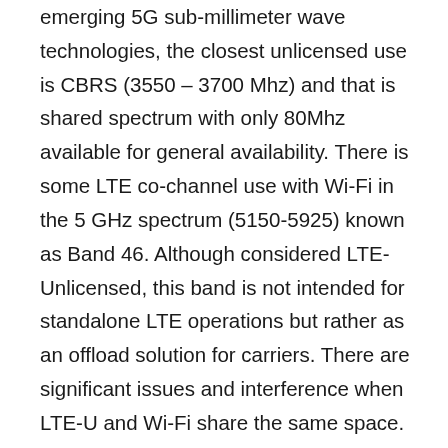emerging 5G sub-millimeter wave technologies, the closest unlicensed use is CBRS (3550 – 3700 Mhz) and that is shared spectrum with only 80Mhz available for general availability. There is some LTE co-channel use with Wi-Fi in the 5 GHz spectrum (5150-5925) known as Band 46. Although considered LTE-Unlicensed, this band is not intended for standalone LTE operations but rather as an offload solution for carriers. There are significant issues and interference when LTE-U and Wi-Fi share the same space. The proliferation of 5 GHz Wi-Fi makes the use of Band 46 very rare.
And while the technical aspects of wireless